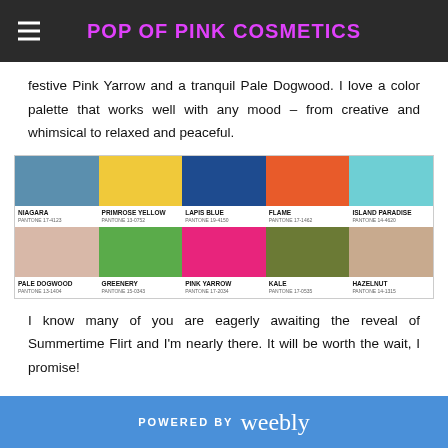POP OF PINK COSMETICS
festive Pink Yarrow and a tranquil Pale Dogwood. I love a color palette that works well with any mood – from creative and whimsical to relaxed and peaceful.
[Figure (infographic): Pantone color palette swatches showing 10 colors in two rows: Niagara, Primrose Yellow, Lapis Blue, Flame, Island Paradise (top row); Pale Dogwood, Greenery, Pink Yarrow, Kale, Hazelnut (bottom row)]
I know many of you are eagerly awaiting the reveal of Summertime Flirt and I'm nearly there. It will be worth the wait, I promise!
POWERED BY weebly